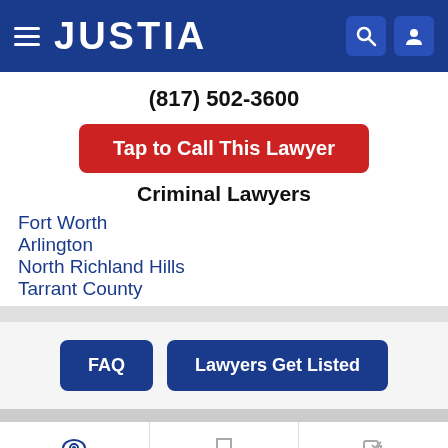JUSTIA
(817) 502-3600
Tap to Call This Lawyer
Criminal Lawyers
Fort Worth
Arlington
North Richland Hills
Tarrant County
FAQ
Lawyers Get Listed
Recent (1)  Saved (0)  Compare (0/3)